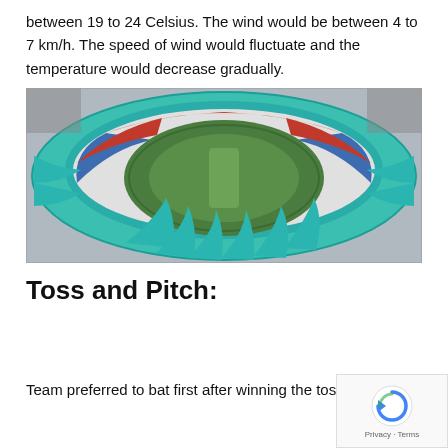between 19 to 24 Celsius. The wind would be between 4 to 7 km/h. The speed of wind would fluctuate and the temperature would decrease gradually.
[Figure (photo): Aerial view of a cricket stadium with green oval pitch, teal/turquoise roof canopy with petal-like structures, and red and blue seating sections.]
Toss and Pitch:
Team preferred to bat first after winning the toss 2 times